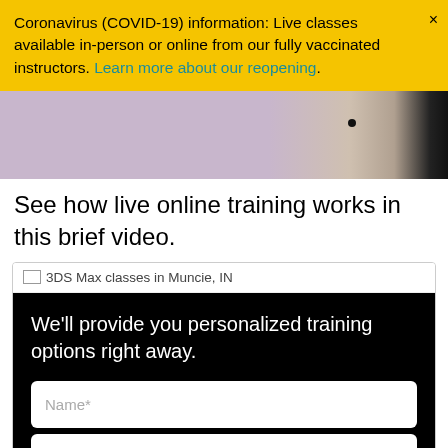Coronavirus (COVID-19) information: Live classes available in-person or online from our fully vaccinated instructors. Learn more about our reopening.
[Figure (photo): Partial screenshot of a video showing a light purple/lavender background with a small black dot near the right side and a dark panel on the far right edge.]
See how live online training works in this brief video.
[Figure (screenshot): Card with header showing '3DS Max classes in Muncie, IN' with a broken image icon, and a black body containing text 'We'll provide you personalized training options right away.' and two form fields labeled 'Name*' and 'Email*'.]